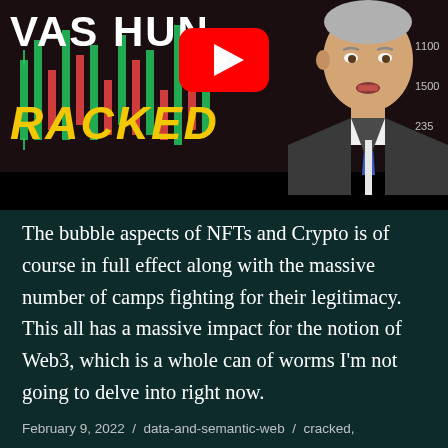[Figure (screenshot): YouTube video thumbnail showing partial text 'VAS HUN' at top, 'CRACKED' in yellow italic bold text at bottom-left, a YouTube play button icon in center-top, and a man in a grey suit with blue tie on the right side against a stock market candlestick chart background.]
The bubble aspects of NFTs and Crypto is of course in full effect along with the massive number of camps fighting for their legitimacy. This all has a massive impact for the notion of Web3, which is a whole can of worms I'm not going to delve into right now.
February 9, 2022 / data-and-semantic-web / cracked,